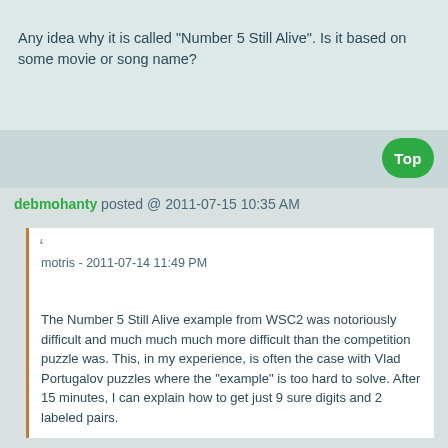Any idea why it is called "Number 5 Still Alive". Is it based on some movie or song name?
debmohanty posted @ 2011-07-15 10:35 AM
motris - 2011-07-14 11:49 PM
The Number 5 Still Alive example from WSC2 was notoriously difficult and much much much more difficult than the competition puzzle was. This, in my experience, is often the case with Vlad Portugalov puzzles where the "example" is too hard to solve. After 15 minutes, I can explain how to get just 9 sure digits and 2 labeled pairs.